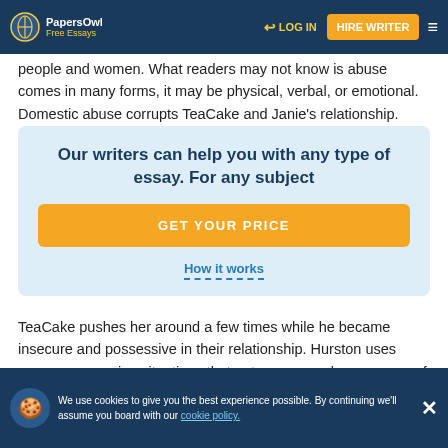PapersOwl Free Essays | LOG IN | HIRE WRITER
people and women. What readers may not know is abuse comes in many forms, it may be physical, verbal, or emotional. Domestic abuse corrupts TeaCake and Janie's relationship.
Our writers can help you with any type of essay. For any subject
GET YOUR PRICE
How it works
TeaCake pushes her around a few times while he became insecure and possessive in their relationship. Hurston uses many eye-opening situations that not many people are aware of in todays society. Abuse comes in all forms as in the novel, from Janie's grandmother forcing Janie to marry Logan, discrimination and inequality for women, and to being what they want. Hurston uses speech to invoke Janie's enlightenment and to
We use cookies to give you the best experience possible. By continuing we'll assume you board with our cookie policy.